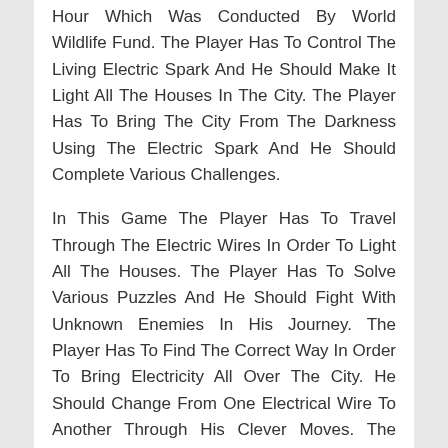Hour Which Was Conducted By World Wildlife Fund. The Player Has To Control The Living Electric Spark And He Should Make It Light All The Houses In The City. The Player Has To Bring The City From The Darkness Using The Electric Spark And He Should Complete Various Challenges.
In This Game The Player Has To Travel Through The Electric Wires In Order To Light All The Houses. The Player Has To Solve Various Puzzles And He Should Fight With Unknown Enemies In His Journey. The Player Has To Find The Correct Way In Order To Bring Electricity All Over The City. He Should Change From One Electrical Wire To Another Through His Clever Moves. The Player Has To Stop The Abnormal Activities Which Happen In The